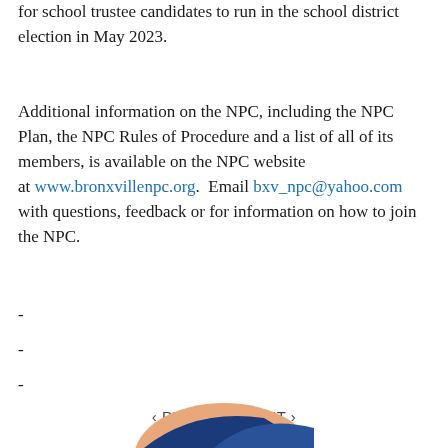for school trustee candidates to run in the school district election in May 2023.
Additional information on the NPC, including the NPC Plan, the NPC Rules of Procedure and a list of all of its members, is available on the NPC website at www.bronxvillenpc.org.  Email bxv_npc@yahoo.com with questions, feedback or for information on how to join the NPC.
-
-
-
‹ PREV   NEXT ›